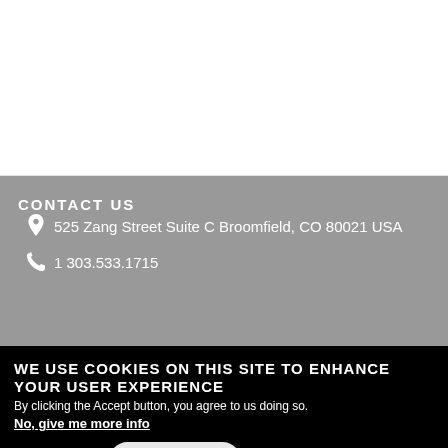CONTACT US
525 Zang Street Suite C Broomfield, CO 80021 USA
1 303.533.1715
WE USE COOKIES ON THIS SITE TO ENHANCE YOUR USER EXPERIENCE
By clicking the Accept button, you agree to us doing so.
No, give me more info
OK, I agree
No, thanks